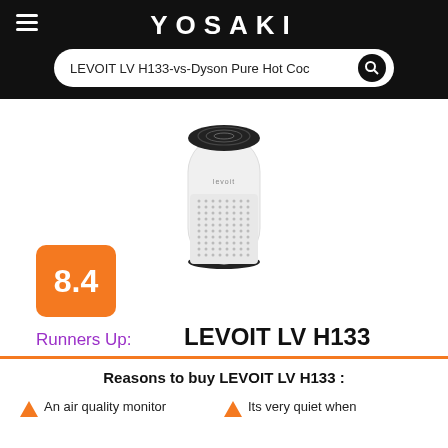YOSAKI
LEVOIT LV H133-vs-Dyson Pure Hot Coc
[Figure (photo): LEVOIT LV H133 air purifier product photo — white cylindrical unit with black top and perforated body]
8.4
Runners Up:   LEVOIT LV H133
Reasons to buy LEVOIT LV H133 :
An air quality monitor
Its very quiet when